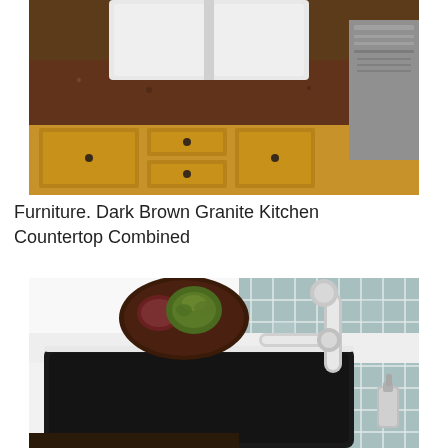[Figure (photo): Kitchen countertop with dark brown granite surface, white undermount double sink, tan/brown wood cabinets with drawers, and a stainless steel appliance visible on the right.]
Furniture. Dark Brown Granite Kitchen Countertop Combined
[Figure (photo): Modern kitchen with a white countertop featuring a large black undermount single-basin sink, a chrome articulating pot filler faucet, a soap dispenser, a round dark wooden plate with succulent plants, and a teal/gray square mosaic tile backsplash.]